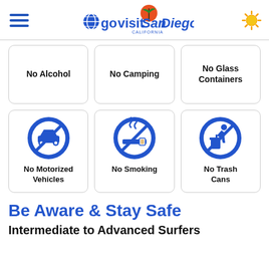go visit San Diego California
[Figure (infographic): No Alcohol prohibition sign icon - blue circle with car crossed out]
No Alcohol
[Figure (infographic): No Camping prohibition sign icon]
No Camping
[Figure (infographic): No Glass Containers prohibition sign icon]
No Glass Containers
[Figure (infographic): No Motorized Vehicles prohibition sign icon - blue circle with car crossed out]
No Motorized Vehicles
[Figure (infographic): No Smoking prohibition sign icon]
No Smoking
[Figure (infographic): No Trash Cans prohibition sign icon]
No Trash Cans
Be Aware & Stay Safe
Intermediate to Advanced Surfers